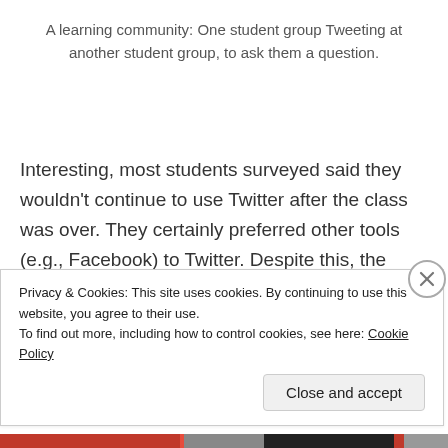A learning community: One student group Tweeting at another student group, to ask them a question.
Interesting, most students surveyed said they wouldn't continue to use Twitter after the class was over. They certainly preferred other tools (e.g., Facebook) to Twitter. Despite this, the students felt Twitter useful in the context of the field biology class, and could see its
Privacy & Cookies: This site uses cookies. By continuing to use this website, you agree to their use.
To find out more, including how to control cookies, see here: Cookie Policy
Close and accept